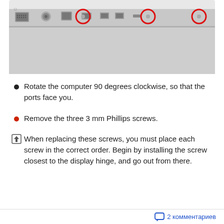[Figure (photo): Photo of the back/side of a laptop computer showing ports (DVI, power, network, USB, etc.) with three red circles highlighting screw locations along the top edge of the port panel.]
Rotate the computer 90 degrees clockwise, so that the ports face you.
Remove the three 3 mm Phillips screws.
When replacing these screws, you must place each screw in the correct order. Begin by installing the screw closest to the display hinge, and go out from there.
2 комментариев